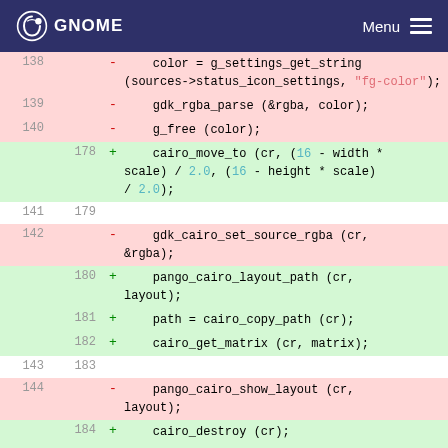GNOME  Menu
[Figure (screenshot): Code diff view showing removed lines 138-144 (pink background) and added lines 178-185 (green background) from a GNOME source file. Removed lines include g_settings_get_string, gdk_rgba_parse, g_free, gdk_cairo_set_source_rgba, pango_cairo_show_layout. Added lines include cairo_move_to, pango_cairo_layout_path, path = cairo_copy_path, cairo_get_matrix, cairo_destroy, cairo_surface_destroy.]